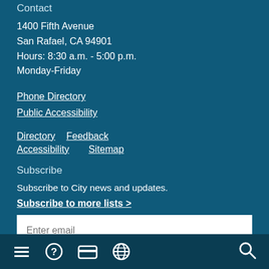Contact
1400 Fifth Avenue
San Rafael, CA 94901
Hours: 8:30 a.m. - 5:00 p.m.
Monday-Friday
Phone Directory
Public Accessibility
Directory
Feedback
Accessibility
Sitemap
Subscribe
Subscribe to City news and updates.
Subscribe to more lists >
Enter email